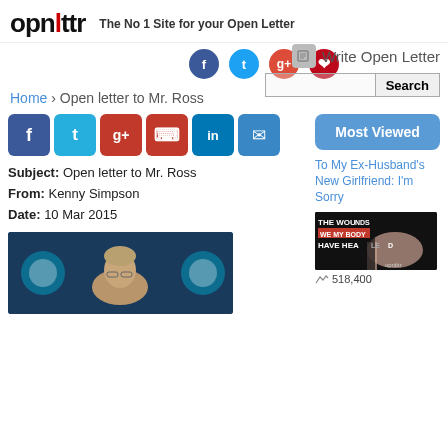opnlttr — The No 1 Site for your Open Letter
[Figure (screenshot): Social media icons: Facebook, Twitter, Google+, Pinterest circles in header]
[Figure (screenshot): Write Open Letter button with pencil icon and Search input with Search button]
Home › Open letter to Mr. Ross
[Figure (screenshot): Social share icons row: Facebook, Twitter, Google+, Pinterest, LinkedIn, Email]
[Figure (screenshot): Most Viewed blue button on the right sidebar]
Subject: Open letter to Mr. Ross
From: Kenny Simpson
Date: 10 Mar 2015
To My Ex-Husband's New Girlfriend: I'm Sorry
[Figure (photo): Photo of a man at a press conference with Miami Dolphins logos in the background]
[Figure (photo): Sidebar image with text: THE WOUNDS WE MY BODY HAVE HEALED with opnlttr logo]
518,400